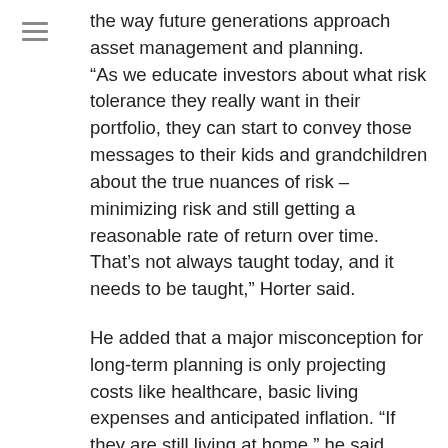the way future generations approach asset management and planning. “As we educate investors about what risk tolerance they really want in their portfolio, they can start to convey those messages to their kids and grandchildren about the true nuances of risk – minimizing risk and still getting a reasonable rate of return over time. That’s not always taught today, and it needs to be taught,” Horter said.
He added that a major misconception for long-term planning is only projecting costs like healthcare, basic living expenses and anticipated inflation. “If they are still living at home,” he said, “you have roof repairs, new water heaters or furnaces, and what we call ‘planned obsolescence’ costs that are not included in the normal inflation rate.”